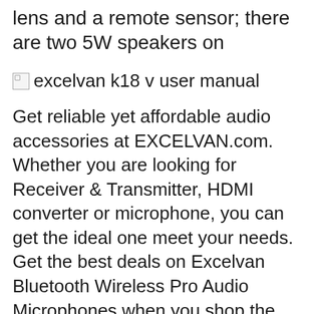lens and a remote sensor; there are two 5W speakers on
[Figure (other): Broken image placeholder with alt text: excelvan k18 v user manual]
Get reliable yet affordable audio accessories at EXCELVAN.com. Whether you are looking for Receiver & Transmitter, HDMI converter or microphone, you can get the ideal one meet your needs. Get the best deals on Excelvan Bluetooth Wireless Pro Audio Microphones when you shop the largest online selection at eBay.com. Free Get the best deals on Excelvan Bluetooth Wireless Pro Audio Microphones when you shop the largest online selection at eBay.com. Free shipping on many items